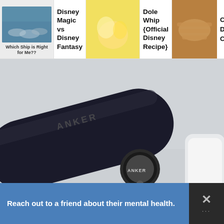[Figure (screenshot): Navigation bar with three article thumbnails: 'Disney Magic vs Disney Fantasy', 'Dole Whip {Official Disney Recipe}', and 'Copycat Disney Churros']
[Figure (photo): Close-up photo of an Anker USB cable plugged into a black Anker power bank, on a light gray surface, with a white phone partially visible]
27K
[Figure (infographic): Blue advertisement bar reading 'Reach out to a friend about their mental health.' with a close/dismiss button on the right]